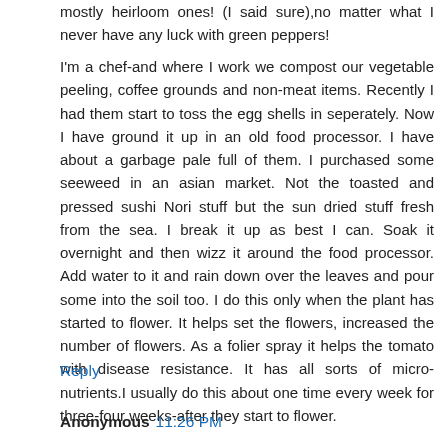mostly heirloom ones! (I said sure),no matter what I never have any luck with green peppers!
I'm a chef-and where I work we compost our vegetable peeling, coffee grounds and non-meat items. Recently I had them start to toss the egg shells in seperately. Now I have ground it up in an old food processor. I have about a garbage pale full of them. I purchased some seeweed in an asian market. Not the toasted and pressed sushi Nori stuff but the sun dried stuff fresh from the sea. I break it up as best I can. Soak it overnight and then wizz it around the food processor. Add water to it and rain down over the leaves and pour some into the soil too. I do this only when the plant has started to flower. It helps set the flowers, increased the number of flowers. As a folier spray it helps the tomato with disease resistance. It has all sorts of micro-nutrients.I usually do this about one time every week for three-four weeks-after they start to flower.
Reply
Anonymous 11:26 PM